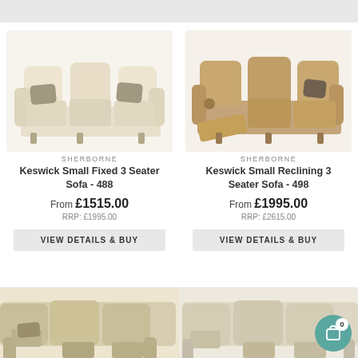[Figure (screenshot): Top gray bar of a website header]
[Figure (photo): Sherborne Keswick Small Fixed 3 Seater Sofa in cream/beige fabric with decorative cushions]
SHERBORNE
Keswick Small Fixed 3 Seater Sofa - 488
From £1515.00
RRP: £1995.00
VIEW DETAILS & BUY
[Figure (photo): Sherborne Keswick Small Reclining 3 Seater Sofa in brown fabric, with footrest extended]
SHERBORNE
Keswick Small Reclining 3 Seater Sofa - 498
From £1995.00
RRP: £2615.00
VIEW DETAILS & BUY
[Figure (photo): Bottom-left partial view of a beige/tan sofa]
[Figure (photo): Bottom-right partial view of a light beige sofa]
[Figure (illustration): Shopping cart icon with badge showing 0 items in teal circle]